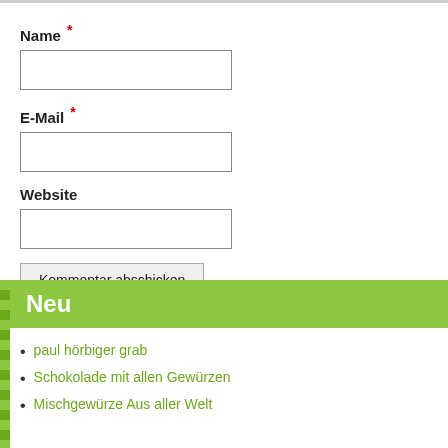Name *
E-Mail *
Website
Kommentar abschicken
Neu
paul hörbiger grab
Schokolade mit allen Gewürzen
Mischgewürze Aus aller Welt